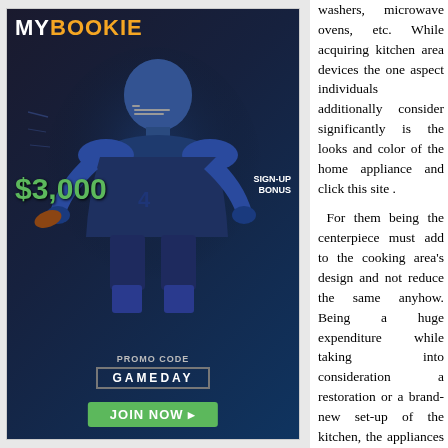[Figure (advertisement): MyBookie sports betting advertisement featuring a football player in armor/helmet, '$3,000 SIGN-UP BONUS' text in green, 'PROMO CODE GAMEDAY' and 'JOIN NOW' button on dark background]
washers, microwave ovens, etc. While acquiring kitchen area devices the one aspect individuals additionally consider significantly is the looks and color of the home appliance and click this site . For them being the centerpiece must add to the cooking area's design and not reduce the same anyhow. Being a huge expenditure while taking into consideration a restoration or a brand-new set-up of the kitchen, the appliances are a need to in today's times, for doing each and every task by